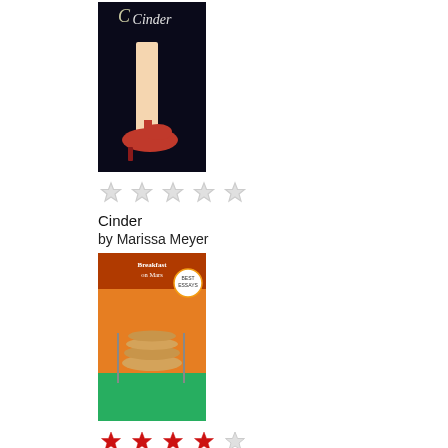[Figure (photo): Book cover for 'Cinder' — dark background with a girl's leg in a red high heel shoe]
★★★★★ (empty stars rating)
Cinder
by Marissa Meyer
[Figure (photo): Book cover for 'Breakfast on Mars and 37 Other Delectable Essays' — orange/green with a stack of pancakes]
★★★★☆ (4 out of 5 stars)
Breakfast on Mars and 37 Other Delectable Essays
by Brad Wolfe
[Figure (photo): Partial book cover by Neil Gaiman — red and cream colors, partially visible]
Privacy & Cookies: This site uses cookies. By continuing to use this website, you agree to their use.
To find out more, including how to control cookies, see here: Cookie Policy
Close and accept